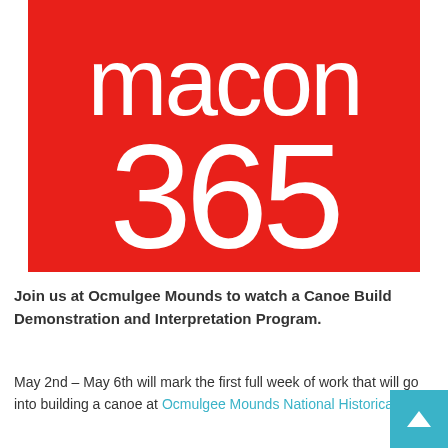[Figure (logo): Macon 365 logo — red background with white thin-weight text reading 'macon' on top and '365' below in large numerals]
Join us at Ocmulgee Mounds to watch a Canoe Build Demonstration and Interpretation Program.
May 2nd – May 6th will mark the first full week of work that will go into building a canoe at Ocmulgee Mounds National Historical Park.